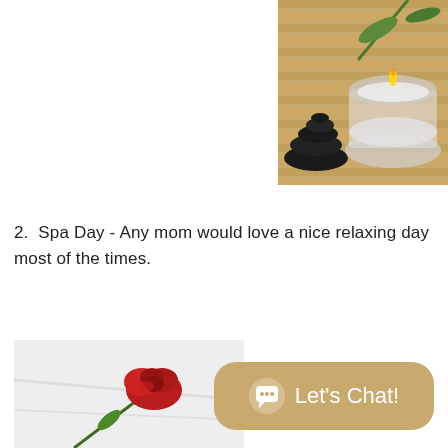[Figure (photo): Spa setting with black stones stacked, a glass candle holder with lit candle, and green bamboo leaves on a wooden mat background, cropped to upper right corner]
2.  Spa Day - Any mom would love a nice relaxing day most of the times.
[Figure (photo): Red rose lying on white fabric/towel, cropped at bottom left]
[Figure (other): Chat button widget with speech bubble icon and text 'Let's Chat!' on tan/gold rounded rectangle background]